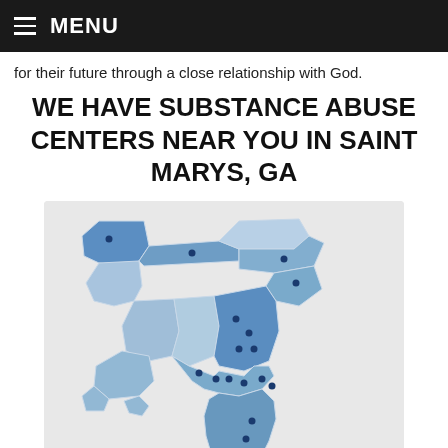MENU
for their future through a close relationship with God.
WE HAVE SUBSTANCE ABUSE CENTERS NEAR YOU IN SAINT MARYS, GA
[Figure (map): A map of the southeastern United States showing states highlighted in various shades of blue, with dark blue dots indicating substance abuse center locations. States shown include Missouri, Tennessee, North Carolina, Virginia, Arkansas, Mississippi, Alabama, Georgia, South Carolina, Louisiana, and Florida. Multiple location dots are concentrated in Georgia and Florida.]